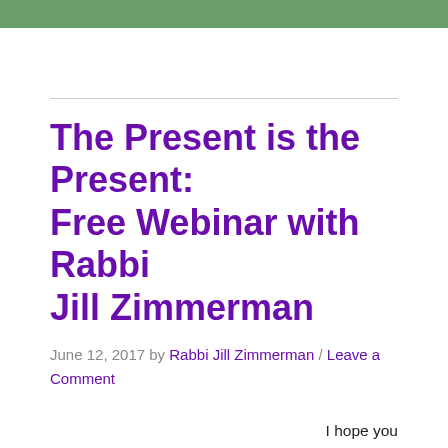The Present is the Present: Free Webinar with Rabbi Jill Zimmerman
June 12, 2017 by Rabbi Jill Zimmerman / Leave a Comment
I hope you will join me for this soul filled